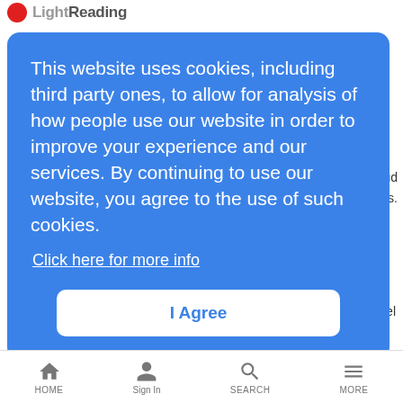Light Reading
loud
olumes.
el
[Figure (screenshot): Cookie consent modal overlay with blue background. Text reads: 'This website uses cookies, including third party ones, to allow for analysis of how people use our website in order to improve your experience and our services. By continuing to use our website, you agree to the use of such cookies. Click here for more info'. Button: 'I Agree']
Dish Slings OTT Service – What It Means
News Analysis | 1/6/2015
Dish has opened the door to skinnier content bundles with the launch of its much-anticipated online video service, Sling TV.
Brazil's Oi Forecasts a Brighter 2015
News Analysis | 1/6/2015
HOME  Sign In  SEARCH  MORE